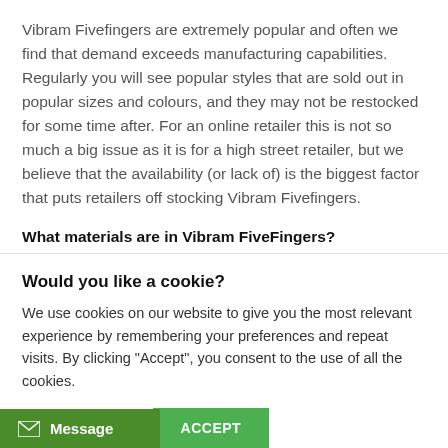Vibram Fivefingers are extremely popular and often we find that demand exceeds manufacturing capabilities. Regularly you will see popular styles that are sold out in popular sizes and colours, and they may not be restocked for some time after. For an online retailer this is not so much a big issue as it is for a high street retailer, but we believe that the availability (or lack of) is the biggest factor that puts retailers off stocking Vibram Fivefingers.
What materials are in Vibram FiveFingers?
Would you like a cookie?
We use cookies on our website to give you the most relevant experience by remembering your preferences and repeat visits. By clicking "Accept", you consent to the use of all the cookies.
Cookie settings   ACCEPT
Message